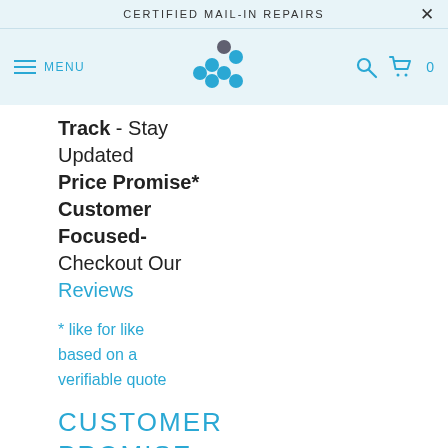CERTIFIED MAIL-IN REPAIRS
[Figure (logo): Blue dot cluster logo for a phone/device repair service]
Track - Stay Updated
Price Promise*
Customer Focused- Checkout Our Reviews
* like for like based on a verifiable quote
CUSTOMER PROMISE
[Figure (illustration): Partial circular graphic at bottom of page, grey and blue]